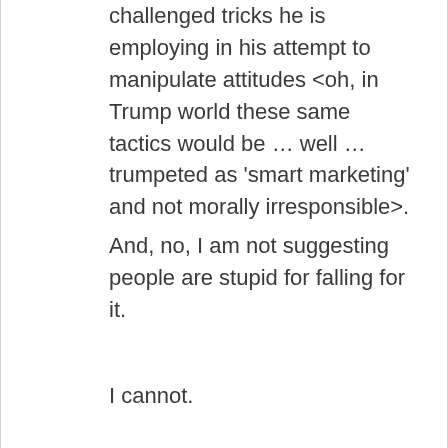challenged tricks he is employing in his attempt to manipulate attitudes <oh, in Trump world these same tactics would be … well … trumpeted as 'smart marketing' and not morally irresponsible>.
And, no, I am not suggesting people are stupid for falling for it.
I cannot.